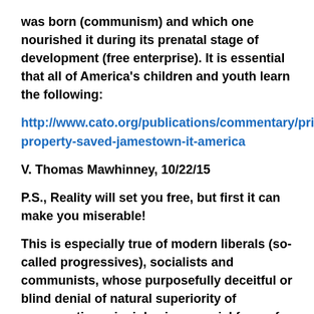was born (communism) and which one nourished it during its prenatal stage of development (free enterprise). It is essential that all of America's children and youth learn the following:
http://www.cato.org/publications/commentary/private-property-saved-jamestown-it-america
V. Thomas Mawhinney,  10/22/15
P.S., Reality will set you free, but first it can make you miserable!
This is especially true of modern liberals (so-called progressives), socialists and communists, whose purposefully deceitful or blind denial of natural superiority of  conservative principles is a special form of human psychopathology.